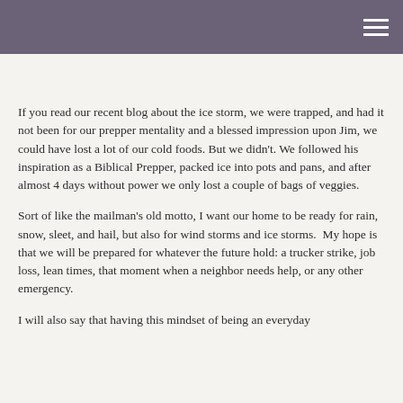worry about wouldn't these. I have had moments like this in my years of adulting. When times were hard, and we needed to rely on what we had stored. THESE are reasons why I am not an Armageddon Prepper.
If you read our recent blog about the ice storm, we were trapped, and had it not been for our prepper mentality and a blessed impression upon Jim, we could have lost a lot of our cold foods. But we didn't. We followed his inspiration as a Biblical Prepper, packed ice into pots and pans, and after almost 4 days without power we only lost a couple of bags of veggies.
Sort of like the mailman's old motto, I want our home to be ready for rain, snow, sleet, and hail, but also for wind storms and ice storms.  My hope is that we will be prepared for whatever the future hold: a trucker strike, job loss, lean times, that moment when a neighbor needs help, or any other emergency.
I will also say that having this mindset of being an everyday